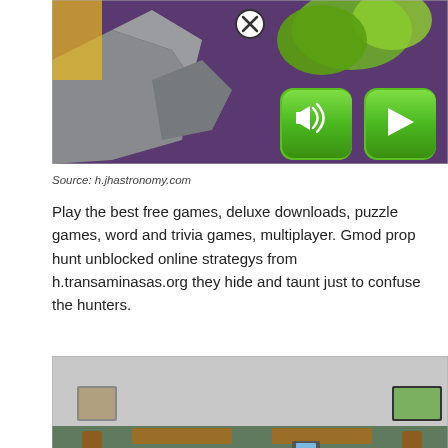[Figure (screenshot): Game screenshot showing a cartoon/animated scene with colorful characters on a purple background, with two green rounded-square buttons (sound and play) in the lower right, and a close (X) button at the top center.]
Source: h.jhastronomy.com
Play the best free games, deluxe downloads, puzzle games, word and trivia games, multiplayer. Gmod prop hunt unblocked online strategys from h.transaminasas.org they hide and taunt just to confuse the hunters.
[Figure (screenshot): Game screenshot showing a 3D office/room environment with wooden desks arranged in a U-shape, chairs, monitors, framed pictures on walls, and a close (X) button at the bottom center.]